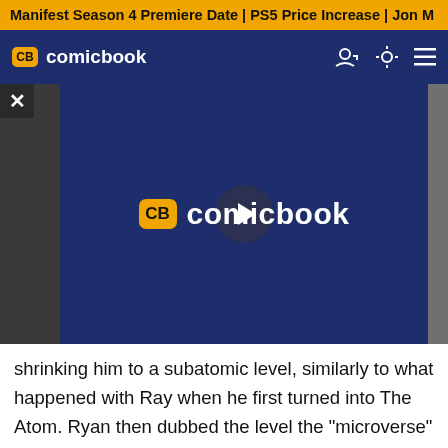Manifest Season 4 Premiere Date | PS5 Price Increase | Jon M
CB comicbook
[Figure (screenshot): ComicBook.com video player overlay with the CB logo in yellow/gold and white text reading 'comicbook', with a play button circle in the center]
shrinking him to a subatomic level, similarly to what happened with Ray when he first turned into The Atom. Ryan then dubbed the level the "microverse" -- which is the